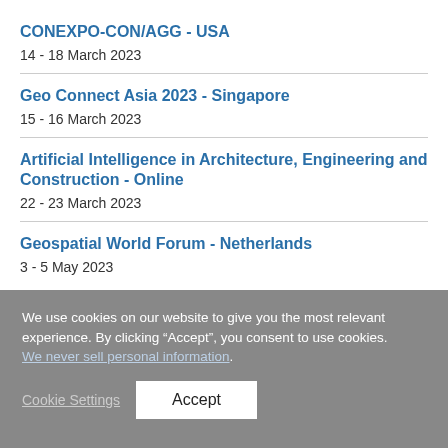CONEXPO-CON/AGG - USA
14 - 18 March 2023
Geo Connect Asia 2023 - Singapore
15 - 16 March 2023
Artificial Intelligence in Architecture, Engineering and Construction - Online
22 - 23 March 2023
Geospatial World Forum - Netherlands
3 - 5 May 2023
We use cookies on our website to give you the most relevant experience. By clicking “Accept”, you consent to use cookies. We never sell personal information.
Cookie Settings  Accept